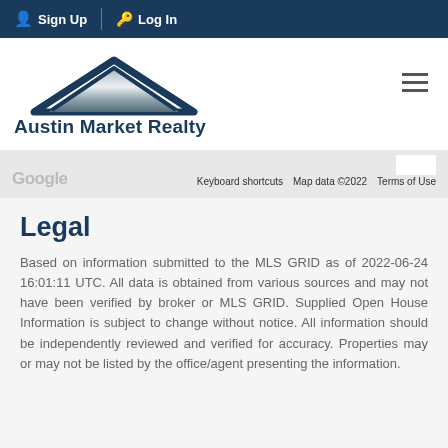Sign Up  Log In
[Figure (logo): Austin Market Realty logo with house roof graphic and company name]
[Figure (screenshot): Google Maps strip showing Keyboard shortcuts, Map data ©2022, Terms of Use]
Legal
Based on information submitted to the MLS GRID as of 2022-06-24 16:01:11 UTC. All data is obtained from various sources and may not have been verified by broker or MLS GRID. Supplied Open House Information is subject to change without notice. All information should be independently reviewed and verified for accuracy. Properties may or may not be listed by the office/agent presenting the information.